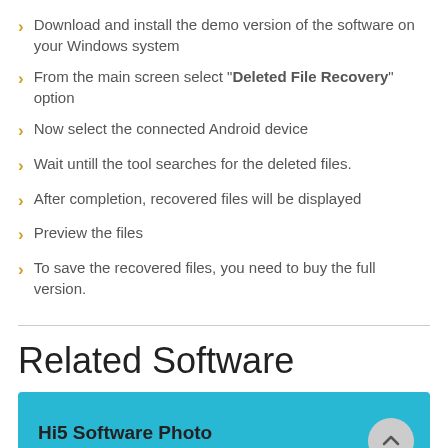Download and install the demo version of the software on your Windows system
From the main screen select "Deleted File Recovery" option
Now select the connected Android device
Wait untill the tool searches for the deleted files.
After completion, recovered files will be displayed
Preview the files
To save the recovered files, you need to buy the full version.
Related Software
[Figure (other): Blue card with text 'Hi5 Software Photo Recovery' and a scroll-to-top button]